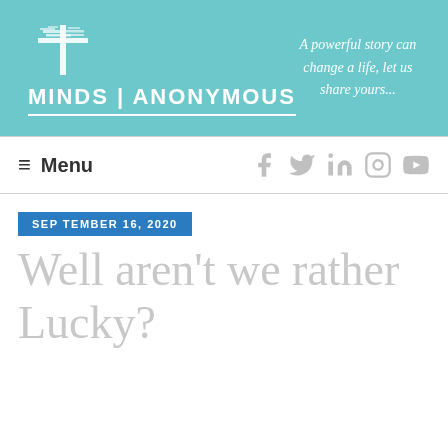[Figure (logo): Minds Anonymous logo banner with teal background, tree icon, bold white text 'MINDS ANONYMOUS', and italic tagline 'A powerful story can change a life, let us share yours...']
≡  Menu
SEPTEMBER 16, 2020
Well aren't we rather Lucky?